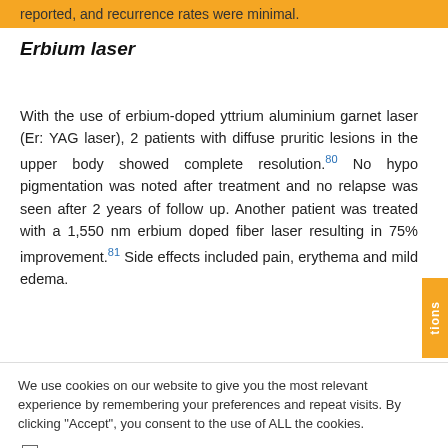reported, and recurrence rates were minimal.
Erbium laser
With the use of erbium-doped yttrium aluminium garnet laser (Er: YAG laser), 2 patients with diffuse pruritic lesions in the upper body showed complete resolution.80 No hypo pigmentation was noted after treatment and no relapse was seen after 2 years of follow up. Another patient was treated with a 1,550 nm erbium doped fiber laser resulting in 75% improvement.81 Side effects included pain, erythema and mild edema.
We use cookies on our website to give you the most relevant experience by remembering your preferences and repeat visits. By clicking "Accept", you consent to the use of ALL the cookies.
Do not sell my personal information.
Cookie Settings   Accept